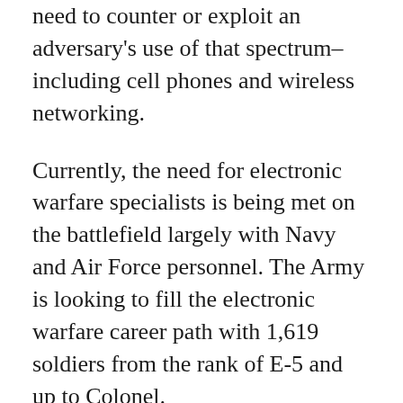need to counter or exploit an adversary's use of that spectrum–including cell phones and wireless networking.
Currently, the need for electronic warfare specialists is being met on the battlefield largely with Navy and Air Force personnel. The Army is looking to fill the electronic warfare career path with 1,619 soldiers from the rank of E-5 and up to Colonel.
The training for the new career field will be held at Fort Sill, Oklahoma — the home of Army Artillery